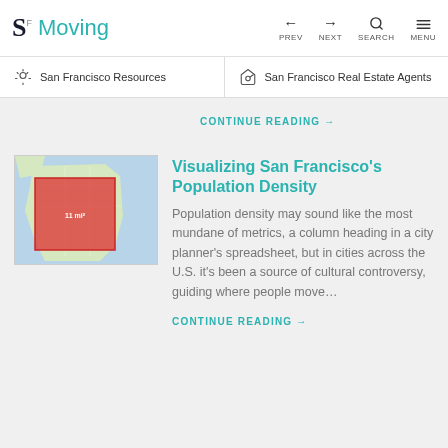SF Moving — PREV NEXT SEARCH MENU
San Francisco Resources   San Francisco Real Estate Agents
CONTINUE READING →
Visualizing San Francisco's Population Density
[Figure (map): Map of San Francisco with a red rectangle overlay highlighting the city area]
Population density may sound like the most mundane of metrics, a column heading in a city planner's spreadsheet, but in cities across the U.S. it's been a source of cultural controversy, guiding where people move…
CONTINUE READING →